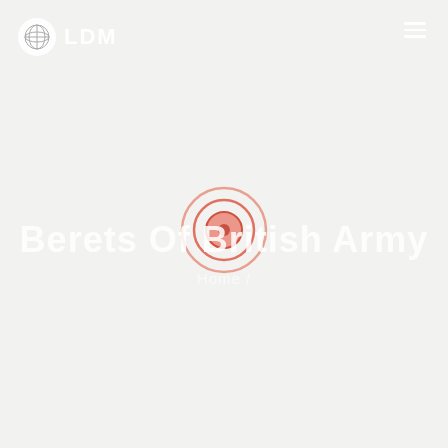[Figure (logo): LDM logo with white circle containing a globe/earth icon and bold white text LDM]
[Figure (other): Hamburger menu icon (three horizontal lines) in white, top right corner]
[Figure (other): Concentric circle target/bullseye icon in salmon/coral orange colors, centered on page overlapping the title text]
Berets Of British Army
Home /